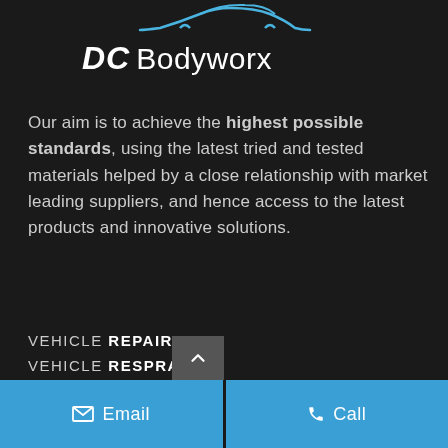[Figure (logo): DC Bodyworx logo with blue car silhouette outline above the text]
Our aim is to achieve the highest possible standards, using the latest tried and tested materials helped by a close relationship with market leading suppliers, and hence access to the latest products and innovative solutions.
VEHICLE REPAIRS
VEHICLE RESPRAYS
WHEEL REFURB
BODY KITS
INSURANCE REPAIRS